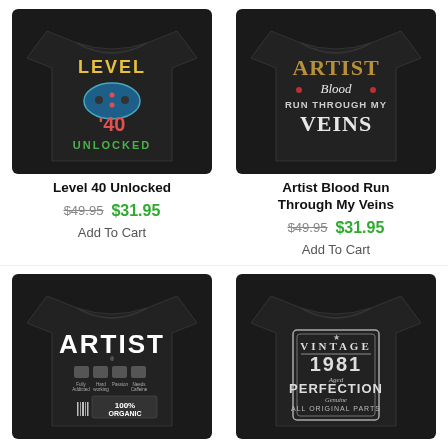[Figure (photo): Black t-shirt with 'Level 40 Unlocked' gaming controller design in colorful text]
Level 40 Unlocked
$49.95  $31.95
Add To Cart
[Figure (photo): Black t-shirt with 'Artist Blood Run Through My Veins' design in gold and white text]
Artist Blood Run Through My Veins
$49.95  $31.95
Add To Cart
[Figure (photo): Black t-shirt with 'ARTIST' label design, 100% Organic]
[Figure (photo): Black t-shirt with 'Vintage 1981 Aged to Perfection All Original Parts' design]